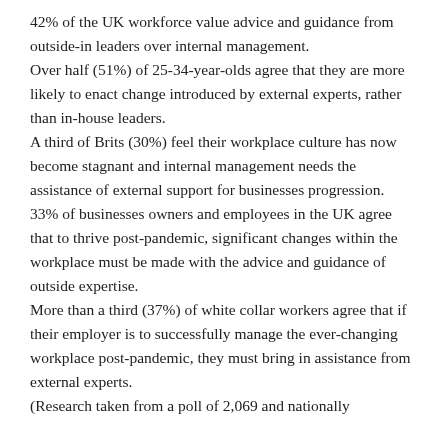42% of the UK workforce value advice and guidance from outside-in leaders over internal management.
Over half (51%) of 25-34-year-olds agree that they are more likely to enact change introduced by external experts, rather than in-house leaders.
A third of Brits (30%) feel their workplace culture has now become stagnant and internal management needs the assistance of external support for businesses progression.
33% of businesses owners and employees in the UK agree that to thrive post-pandemic, significant changes within the workplace must be made with the advice and guidance of outside expertise.
More than a third (37%) of white collar workers agree that if their employer is to successfully manage the ever-changing workplace post-pandemic, they must bring in assistance from external experts.
(Research taken from a poll of 2,069 and nationally